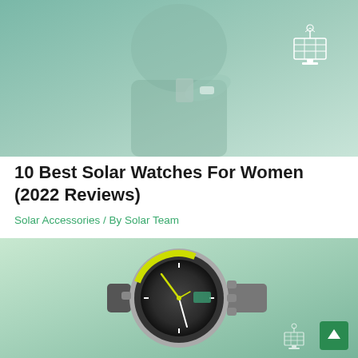[Figure (photo): Woman wearing a smartwatch on her wrist, looking at her phone, with a teal/green color overlay and a solar panel icon in the top-right corner]
10 Best Solar Watches For Women (2022 Reviews)
Solar Accessories / By Solar Team
[Figure (photo): Close-up of a rugged solar-powered watch with a dark dial, yellow accents, and silver/gray metal and rubber band, on a light green background. A back-to-top arrow button and solar icon are in the bottom-right corner.]